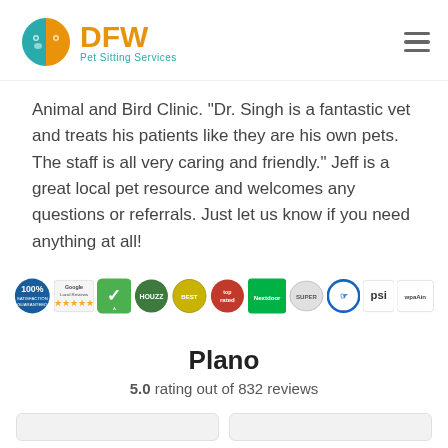[Figure (logo): DFW Pet Sitting Services logo with teal and orange animal face icon, orange DFW text, teal Pet Sitting Services subtitle]
Animal and Bird Clinic.  "Dr. Singh is a fantastic vet and treats his patients like they are his own pets. The staff is all very caring and friendly."  Jeff is a great local pet resource and welcomes any questions or referrals.  Just let us know if you need anything at all!
[Figure (infographic): Row of certification and review badges including 100% satisfaction, Google 5-star rating, Angie's List, Houzz, and other service badges]
Plano
5.0 rating out of 832 reviews